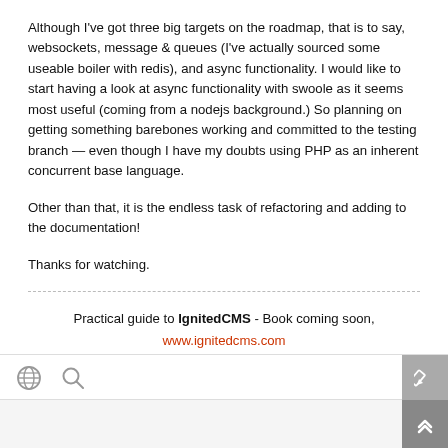Although I've got three big targets on the roadmap, that is to say, websockets, message & queues (I've actually sourced some useable boiler with redis), and async functionality. I would like to start having a look at async functionality with swoole as it seems most useful (coming from a nodejs background.) So planning on getting something barebones working and committed to the testing branch — even though I have my doubts using PHP as an inherent concurrent base language.
Other than that, it is the endless task of refactoring and adding to the documentation!
Thanks for watching.
Practical guide to IgnitedCMS - Book coming soon, www.ignitedcms.com
[globe icon] [search icon] [pencil icon] [scroll-up button]